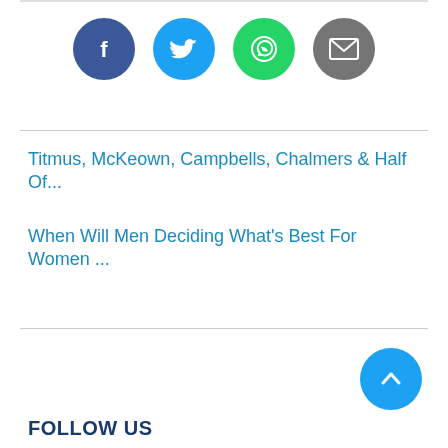[Figure (infographic): Four social media share icon circles in a row: Facebook (dark blue), Twitter (light blue), WhatsApp (green), Email (grey)]
Titmus, McKeown, Campbells, Chalmers & Half Of...
When Will Men Deciding What's Best For Women ...
[Figure (infographic): Light blue circular scroll-to-top button with upward chevron arrow]
FOLLOW US